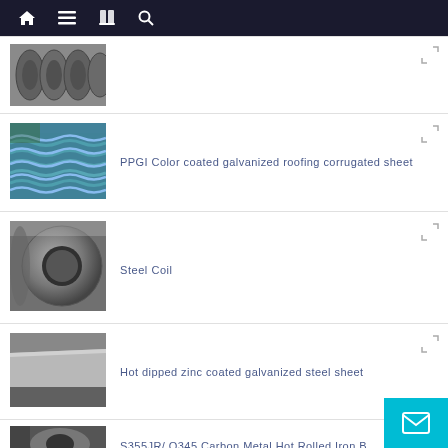Navigation bar with home, menu, book, and search icons
[Figure (photo): Wire rod coils stacked in a row, metallic gray, outdoor industrial setting]
[Figure (photo): PPGI color coated galvanized roofing corrugated sheets, blue color, stacked]
PPGI Color coated galvanized roofing corrugated sheet
[Figure (photo): Steel coil, large cylindrical roll of steel, industrial warehouse]
Steel Coil
[Figure (photo): Hot dipped zinc coated galvanized steel sheet, flat metallic sheet]
Hot dipped zinc coated galvanized steel sheet
[Figure (photo): Carbon metal hot rolled iron, coil partially visible]
S355JR/ Q345 Carbon Metal Hot Rolled Iron B